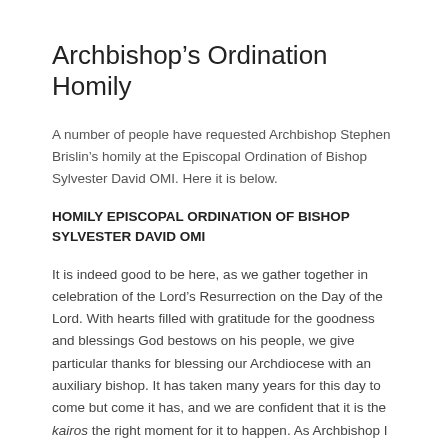Archbishop’s Ordination Homily
A number of people have requested Archbishop Stephen Brislin’s homily at the Episcopal Ordination of Bishop Sylvester David OMI. Here it is below.
HOMILY EPISCOPAL ORDINATION OF BISHOP SYLVESTER DAVID OMI
It is indeed good to be here, as we gather together in celebration of the Lord’s Resurrection on the Day of the Lord. With hearts filled with gratitude for the goodness and blessings God bestows on his people, we give particular thanks for blessing our Archdiocese with an auxiliary bishop. It has taken many years for this day to come but come it has, and we are confident that it is the kairos the right moment for it to happen. As Archbishop I must express our thanks, on behalf of all, to the Holy Father, Pope Francis for appointing Bishop Sylvester, to Cardinal Filoni of the Dicastery for the evangelisation of peoples and to the Nuncio, Archbishop Peter Wells for their respective roles in facilitating the